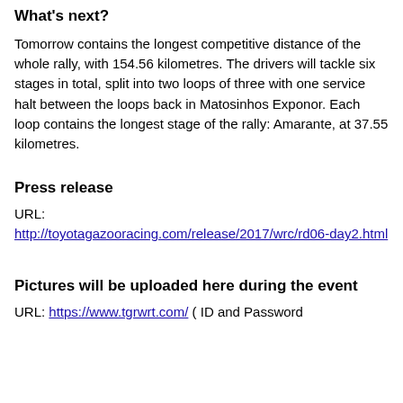What's next?
Tomorrow contains the longest competitive distance of the whole rally, with 154.56 kilometres. The drivers will tackle six stages in total, split into two loops of three with one service halt between the loops back in Matosinhos Exponor. Each loop contains the longest stage of the rally: Amarante, at 37.55 kilometres.
Press release
URL: http://toyotagazooracing.com/release/2017/wrc/rd06-day2.html
Pictures will be uploaded here during the event
URL: https://www.tgrwrt.com/ ( ID and Password